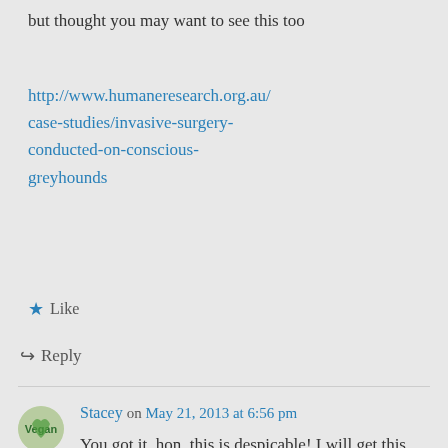but thought you may want to see this too
http://www.humaneresearch.org.au/case-studies/invasive-surgery-conducted-on-conscious-greyhounds
★ Like
↪ Reply
Stacey on May 21, 2013 at 6:56 pm
You got it, hon, this is despicable! I will get this out on Thursday. Thank you!